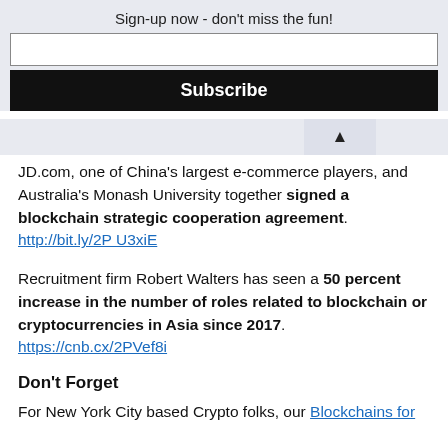Sign-up now - don't miss the fun!
JD.com, one of China's largest e-commerce players, and Australia's Monash University together signed a blockchain strategic cooperation agreement. http://bit.ly/2PU3xiE
Recruitment firm Robert Walters has seen a 50 percent increase in the number of roles related to blockchain or cryptocurrencies in Asia since 2017. https://cnb.cx/2PVef8i
Don't Forget
For New York City based Crypto folks, our Blockchains for